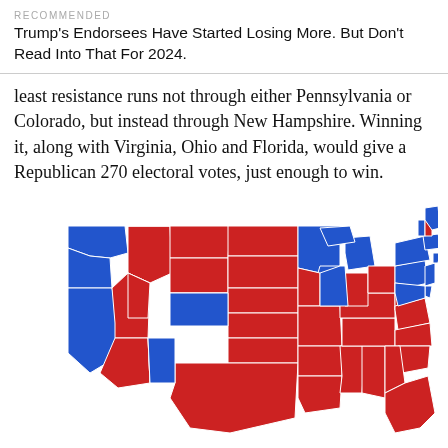RECOMMENDED
Trump's Endorsees Have Started Losing More. But Don't Read Into That For 2024.
least resistance runs not through either Pennsylvania or Colorado, but instead through New Hampshire. Winning it, along with Virginia, Ohio and Florida, would give a Republican 270 electoral votes, just enough to win.
[Figure (map): US electoral map showing states colored red (Republican) and blue (Democrat). Most of the interior/South/Great Plains states are red. West Coast, Northeast, and some upper Midwest states are blue. New Hampshire is shown in red.]